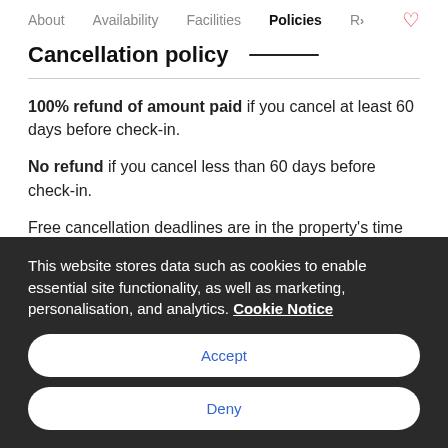About  Availability  Facilities  Policies  R>
Cancellation policy
100% refund of amount paid if you cancel at least 60 days before check-in.
No refund if you cancel less than 60 days before check-in.
Free cancellation deadlines are in the property's time
This website stores data such as cookies to enable essential site functionality, as well as marketing, personalisation, and analytics. Cookie Notice
Accept
Deny